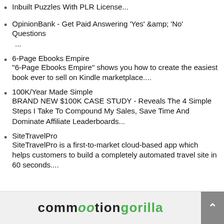Inbuilt Puzzles With PLR License...
OpinionBank - Get Paid Answering 'Yes' &amp; 'No' Questions
...
6-Page Ebooks Empire
"6-Page Ebooks Empire" shows you how to create the easiest book ever to sell on Kindle marketplace....
100K/Year Made Simple
BRAND NEW $100K CASE STUDY - Reveals The 4 Simple Steps I Take To Compound My Sales, Save Time And Dominate Affiliate Leaderboards...
SiteTravelPro
SiteTravelPro is a first-to-market cloud-based app which helps customers to build a completely automated travel site in 60 seconds....
[Figure (logo): Commission Gorilla logo with stylized text in black and green]